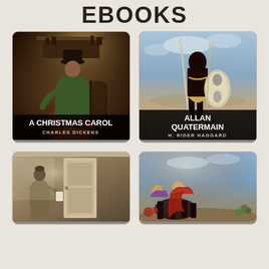EBOOKS
[Figure (illustration): Book cover for A Christmas Carol by Charles Dickens. Painting of an elderly man in a top hat sitting by a fireplace in a dimly lit room.]
[Figure (illustration): Book cover for Allan Quatermain by H. Rider Haggard. Painting of an African warrior holding a spear and shield, standing in a landscape.]
[Figure (illustration): Book cover bottom-left. Painting of a figure near a door in an interior scene with muted tones.]
[Figure (illustration): Book cover bottom-right. Painting of figures on horseback in a colorful outdoor scene.]